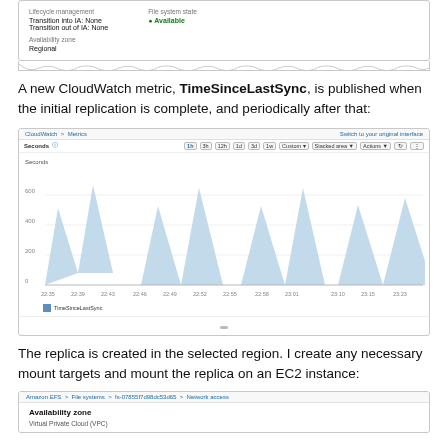[Figure (screenshot): AWS EFS file system details panel showing Lifecycle management (Transition into IA: None, Transition out of IA: None), Availability zone (Regional), and File system state (Available green badge).]
A new CloudWatch metric, TimeSinceLastSync, is published when the initial replication is complete, and periodically after that:
[Figure (area-chart): Sawtooth area chart showing TimeSinceLastSync metric in CloudWatch, repeatedly rising to ~500-640 seconds then dropping sharply, with y-axis labels at 200, 400, 600 seconds.]
The replica is created in the selected region. I create any necessary mount targets and mount the replica on an EC2 instance:
[Figure (screenshot): Amazon EFS > File systems > fs-07855f7d98dc53d65 > Network access panel showing Availability zone header and Virtual Private Cloud (VPC) sub-label.]